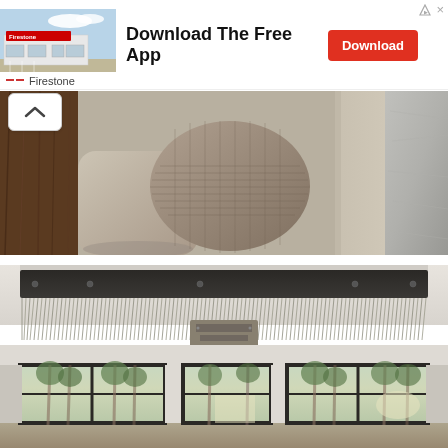[Figure (infographic): Advertisement banner for Firestone showing a store building photo on the left, 'Download The Free App' text in the center, and a red 'Download' button on the right. A triangular ad icon and X close button appear in the top right. 'Firestone' attribution with dashes appears at the bottom of the banner.]
[Figure (photo): Close-up interior photo of a neutral-colored sofa with cushions. Brown fur blanket visible on the left side. A woven textured pillow in the center, and a stone or concrete wall visible in the background on the right.]
[Figure (photo): Interior architectural photo showing a modern ceiling-mounted radiant heater or speaker grille — a long rectangular dark metal housing with vertical metal fins hanging below it, mounted to a light beige ceiling. Below is a row of black-framed floor-to-ceiling windows showing trees outside.]